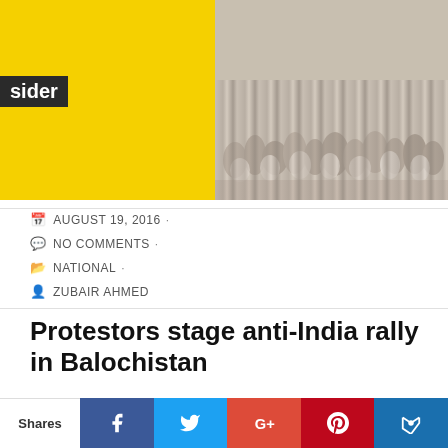[Figure (photo): Crowd of protesters marching, partial yellow banner/logo on left side reading 'sider']
AUGUST 19, 2016 ·
NO COMMENTS ·
NATIONAL ·
ZUBAIR AHMED
Protestors stage anti-India rally in Balochistan
Four days ago on India's Independence Day, Prime Minister Narendra Modi made a statement on Balochistan during his speech. As a result, protestors staged anti-India rallies across Balochistan under the control of Chief Minister Sanaullah Zehri. The minister also blamed India of fueling terrorism in the unstable region. In addition, he also stated that the protest indicates that the people of Balochistan did not like whatever Indian PM said